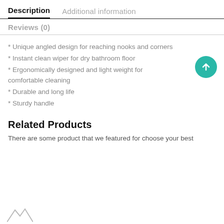Description   Additional information
Reviews (0)
* Unique angled design for reaching nooks and corners
* Instant clean wiper for dry bathroom floor
* Ergonomically designed and light weight for comfortable cleaning
* Durable and long life
* Sturdy handle
Related Products
There are some product that we featured for choose your best